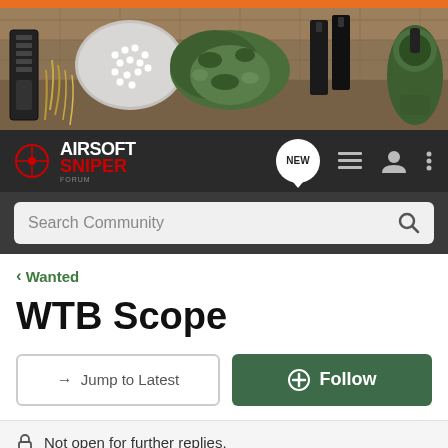[Figure (photo): Hero banner showing airsoft gear including a rifle magazine, BB pellets in a bag, camouflage-wrapped items, black accessories, and tactical headphones on a sandy/burlap surface]
[Figure (logo): Airsoft Sniper Forum logo — white bold AIRSOFT text with red bold SNIPER text below, with red crosshair target icon, on dark background. Navigation icons including NEW chat bubble, list/menu icon, user icon, and vertical ellipsis/more icon.]
Search Community
< Wanted
WTB Scope
→ Jump to Latest
+ Follow
Not open for further replies.
1 - 10 of 10 Posts